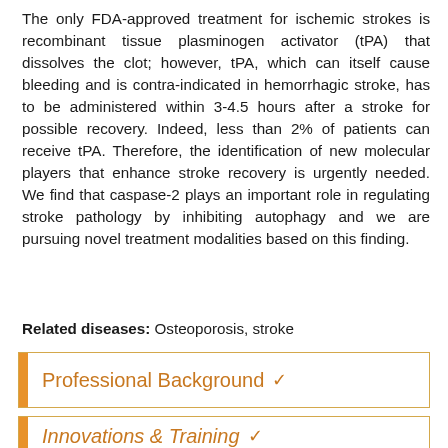The only FDA-approved treatment for ischemic strokes is recombinant tissue plasminogen activator (tPA) that dissolves the clot; however, tPA, which can itself cause bleeding and is contra-indicated in hemorrhagic stroke, has to be administered within 3-4.5 hours after a stroke for possible recovery. Indeed, less than 2% of patients can receive tPA. Therefore, the identification of new molecular players that enhance stroke recovery is urgently needed. We find that caspase-2 plays an important role in regulating stroke pathology by inhibiting autophagy and we are pursuing novel treatment modalities based on this finding.
Related diseases: Osteoporosis, stroke
Professional Background
Innovations & Training